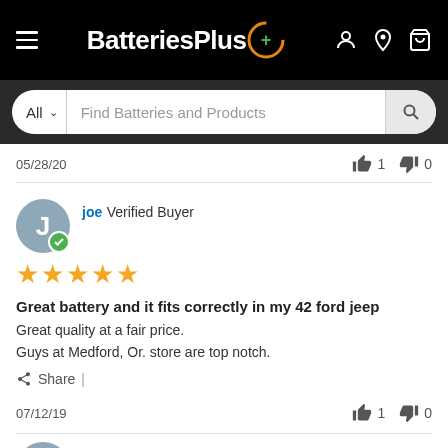BatteriesPlus+ — navigation header with hamburger menu, logo, search icons, cart
All ∨   Find Batteries and Products
05/28/20
joe  Verified Buyer  ★★★★★
Great battery and it fits correctly in my 42 ford jeep
Great quality at a fair price.
Guys at Medford, Or. store are top notch.
Share  |
07/12/19